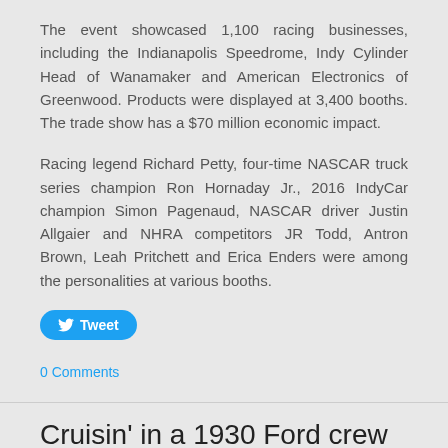The event showcased 1,100 racing businesses, including the Indianapolis Speedrome, Indy Cylinder Head of Wanamaker and American Electronics of Greenwood. Products were displayed at 3,400 booths. The trade show has a $70 million economic impact.
Racing legend Richard Petty, four-time NASCAR truck series champion Ron Hornaday Jr., 2016 IndyCar champion Simon Pagenaud, NASCAR driver Justin Allgaier and NHRA competitors JR Todd, Antron Brown, Leah Pritchett and Erica Enders were among the personalities at various booths.
[Figure (other): Twitter Tweet button (blue rounded rectangle with Twitter bird icon and 'Tweet' text)]
0 Comments
Cruisin' in a 1930 Ford crew cab
12/13/2017   0 Comments